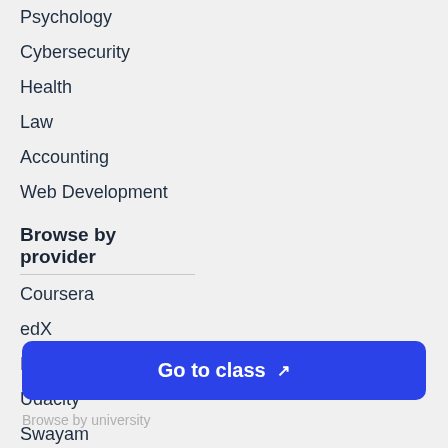Psychology
Cybersecurity
Health
Law
Accounting
Web Development
Browse by provider
Coursera
edX
FutureLearn
Udacity
Swayam
Udemy
Go to class
Browse by university